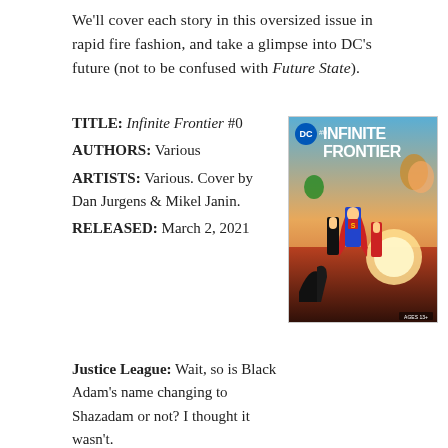We'll cover each story in this oversized issue in rapid fire fashion, and take a glimpse into DC's future (not to be confused with Future State).
TITLE: Infinite Frontier #0
AUTHORS: Various
ARTISTS: Various. Cover by Dan Jurgens & Mikel Janin.
RELEASED: March 2, 2021
[Figure (photo): Comic book cover of Infinite Frontier #0 published by DC, featuring Superman and various DC heroes, cover art by Dan Jurgens and Mikel Janin.]
Justice League: Wait, so is Black Adam's name changing to Shazadam or not? I thought it wasn't.